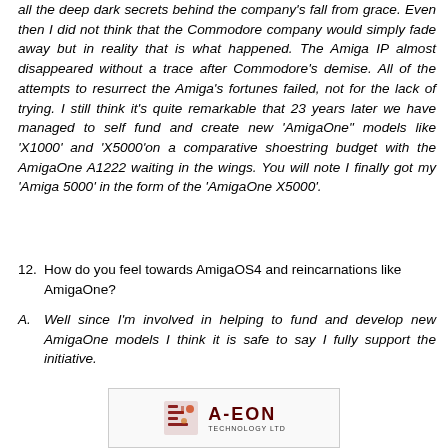all the deep dark secrets behind the company's fall from grace. Even then I did not think that the Commodore company would simply fade away but in reality that is what happened. The Amiga IP almost disappeared without a trace after Commodore's demise. All of the attempts to resurrect the Amiga's fortunes failed, not for the lack of trying. I still think it's quite remarkable that 23 years later we have managed to self fund and create new 'AmigaOne" models like 'X1000' and 'X5000'on a comparative shoestring budget with the AmigaOne A1222 waiting in the wings. You will note I finally got my 'Amiga 5000' in the form of the 'AmigaOne X5000'.
12. How do you feel towards AmigaOS4 and reincarnations like AmigaOne?
A. Well since I'm involved in helping to fund and develop new AmigaOne models I think it is safe to say I fully support the initiative.
[Figure (logo): A-EON Technology Ltd logo with a circuit board graphic element]